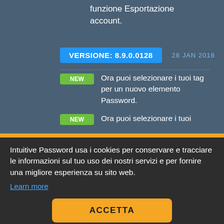funzione Esportazione account.
VERSIONE: 8.9.0.0128   28 JAN 2018
NEW  Ora puoi selezionare i tuoi tag per un nuovo elemento Password.
NEW  Ora puoi selezionare i tuoi
Intuitive Password usa i cookies per conservare e tracciare le informazioni sul tuo uso dei nostri servizi e per fornire una migliore esperienza su sito web.
Learn more
ACCETTA